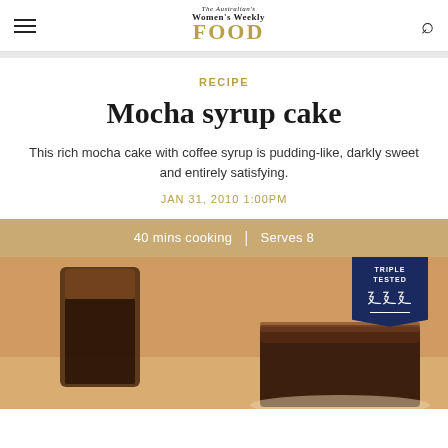The Australian Women's Weekly FOOD
RECIPE
Mocha syrup cake
This rich mocha cake with coffee syrup is pudding-like, darkly sweet and entirely satisfying.
JAN 31, 2010 1:00PM
40 mins cooking  |  Serves 8
[Figure (photo): Photo of a mocha syrup cake slice with a glass of coffee syrup, and a Triple Tested badge in navy blue in the top right corner]